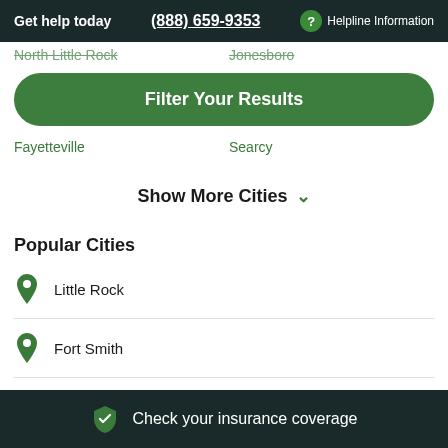Get help today  (888) 659-9353  ? Helpline Information
North Little Rock   Jonesboro
Filter Your Results
Fayetteville   Searcy
Show More Cities
Popular Cities
Little Rock
Fort Smith
Check your insurance coverage